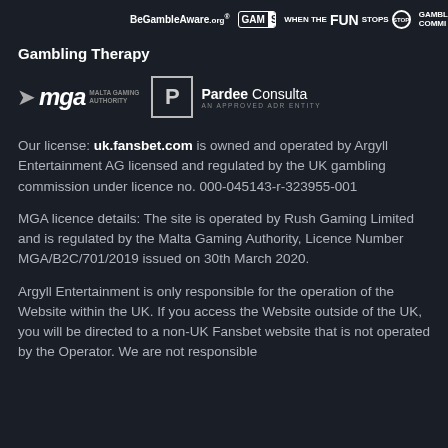BeGambleAware.org | GAMSTOP | WHEN THE FUN STOPS STOP | GAMBLING COMMISSION
Gambling Therapy
[Figure (logo): MGA Malta Gaming Authority logo and Pardee Consulta AN APPROVED ADR ENTITY logo]
Our license: uk.fansbet.com is owned and operated by Argyll Entertainment AG licensed and regulated by the UK gambling commission under licence no. 000-045143-r-323955-001
MGA licence details: The site is operated by Rush Gaming Limited and is regulated by the Malta Gaming Authority, Licence Number MGA/B2C/701/2019 issued on 30th March 2020.
Argyll Entertainment is only responsible for the operation of the Website within the UK. If you access the Website outside of the UK, you will be directed to a non-UK Fansbet website that is not operated by the Operator. We are not responsible